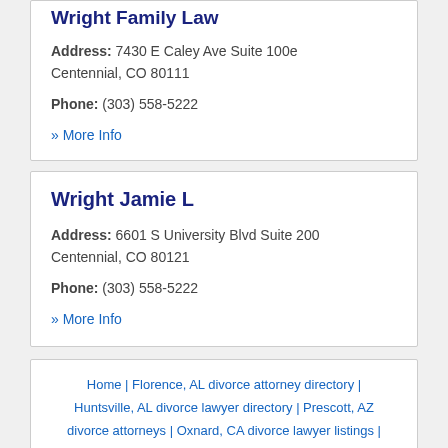Wright Family Law
Address: 7430 E Caley Ave Suite 100e Centennial, CO 80111
Phone: (303) 558-5222
» More Info
Wright Jamie L
Address: 6601 S University Blvd Suite 200 Centennial, CO 80121
Phone: (303) 558-5222
» More Info
Home | Florence, AL divorce attorney directory | Huntsville, AL divorce lawyer directory | Prescott, AZ divorce attorneys | Oxnard, CA divorce lawyer listings |